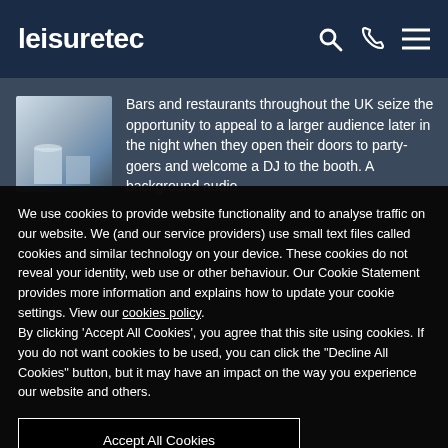leisuretec
Bars and restaurants throughout the UK seize the opportunity to appeal to a larger audience later in the night when they open their doors to party-goers and welcome a DJ to the booth. A background audio system in a bar or restaurant is often
We use cookies to provide website functionality and to analyse traffic on our website. We (and our service providers) use small text files called cookies and similar technology on your device. These cookies do not reveal your identity, web use or other behaviour. Our Cookie Statement provides more information and explains how to update your cookie settings. View our cookies policy.
By clicking 'Accept All Cookies', you agree that this site using cookies. If you do not want cookies to be used, you can click the "Decline All Cookies" button, but it may have an impact on the way you experience our website and others.
Accept All Cookies
Decline All Cookies